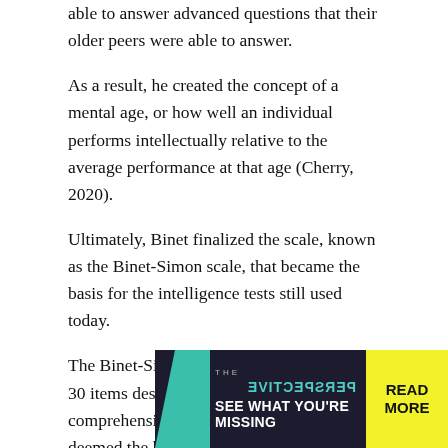able to answer advanced questions that their older peers were able to answer.
As a result, he created the concept of a mental age, or how well an individual performs intellectually relative to the average performance at that age (Cherry, 2020).
Ultimately, Binet finalized the scale, known as the Binet-Simon scale, that became the basis for the intelligence tests still used today.
The Binet-Simon scale of 1905 comprised 30 items designed to measure judgment, comprehension, and reasoning which Binet deemed the key characteristics of intelligence.
[Figure (infographic): Advertisement banner for 'The Perspective' publication. Dark background with teal reversed text 'PERSPECTIVE' and white bold text 'SEE WHAT YOU'RE MISSING'. Yellow 'READ MORE' button on the right.]